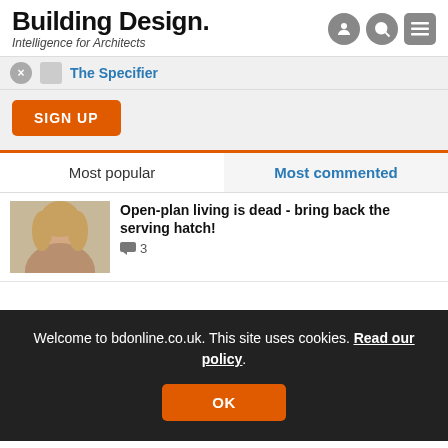Building Design. Intelligence for Architects
The Specifier
SIGN UP
Most popular
Most commented
Open-plan living is dead - bring back the serving hatch!
3
Welcome to bdonline.co.uk. This site uses cookies. Read our policy.
OK
EPR's Mayfair hotel scheme blocked by